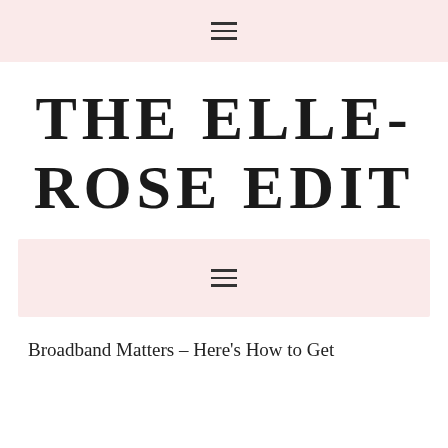☰
THE ELLE-ROSE EDIT
[Figure (other): Pink/rose background menu bar with hamburger icon]
Broadband Matters – Here's How to Get